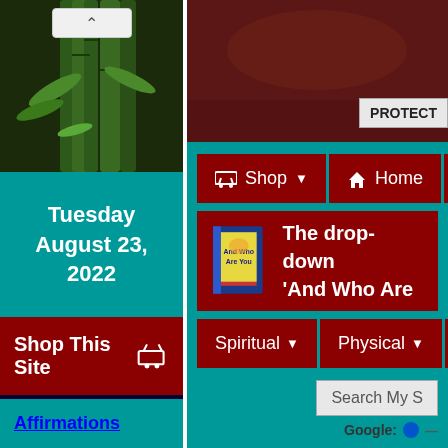[Figure (screenshot): Top-left: bamboo/plant image with dark green background and a scroll-up arrow button]
Tuesday
August 23, 2022
Shop This Site 🛒
[Figure (photo): Spirit dove image with light rays on dark blue background, www.DrStandley.com URL, with text 'Let your spirit be led by Spirit']
Let your spirit be led by Spirit
Affirmations
[Figure (screenshot): Top-right: dark reddish-brown image with PROTECT button visible]
PROTECT
🛒 Shop ▼
🏠 Home
[Figure (photo): Book cover for 'And Who Are You']
The drop-down 'And Who Are
Spiritual ▼
Physical ▼
Emoti...
Search My S...
Google: ⭕